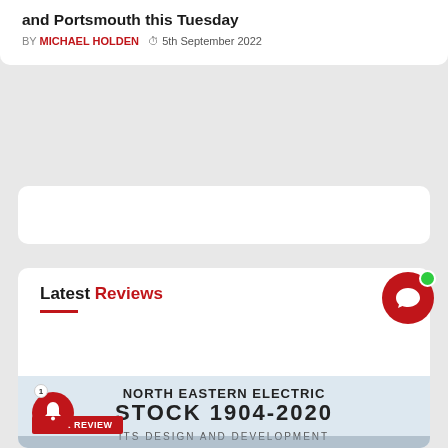and Portsmouth this Tuesday
BY MICHAEL HOLDEN  5th September 2022
Latest Reviews
[Figure (photo): Book cover for 'North Eastern Electric Stock 1904-2020: Its Design and Development' featuring a yellow and grey Tyne and Wear Metro train at a station]
BOOK REVIEW